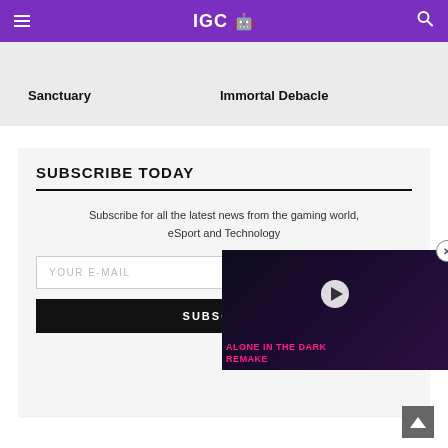IGC
Sanctuary
Immortal Debacle
SUBSCRIBE TODAY
Subscribe for all the latest news from the gaming world, eSport and Technology
YOUR E-MAIL
SUBSCRIBE
[Figure (screenshot): Video popup overlay showing 'ALONE IN THE DARK REMAKE' with MW logo bar, play button, and close button]
ALONE IN THE DARK REMAKE